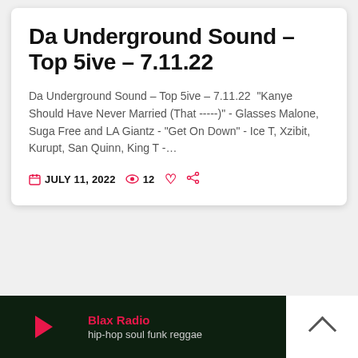Da Underground Sound – Top 5ive – 7.11.22
Da Underground Sound – Top 5ive – 7.11.22  "Kanye Should Have Never Married (That -----)" - Glasses Malone, Suga Free and LA Giantz - "Get On Down" - Ice T, Xzibit, Kurupt, San Quinn, King T -…
JULY 11, 2022  12
Blax Radio hip-hop soul funk reggae